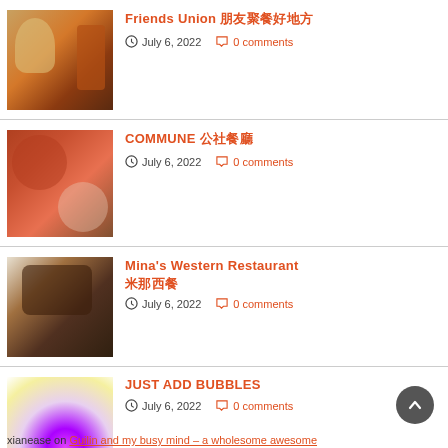[Figure (photo): Drinks photo with beer glass and Jim Beam bottle]
Friends Union 朋友聚餐好地方
July 6, 2022   0 comments
[Figure (photo): Food photo with pizza and salad bowls]
COMMUNE 公社餐廳
July 6, 2022   0 comments
[Figure (photo): Western restaurant food and drinks]
Mina's Western Restaurant 米那西餐
July 6, 2022   0 comments
[Figure (photo): Colorful bubble light photo]
JUST ADD BUBBLES
July 6, 2022   0 comments
xianease on Guilin and my busy mind – a wholesome awesome